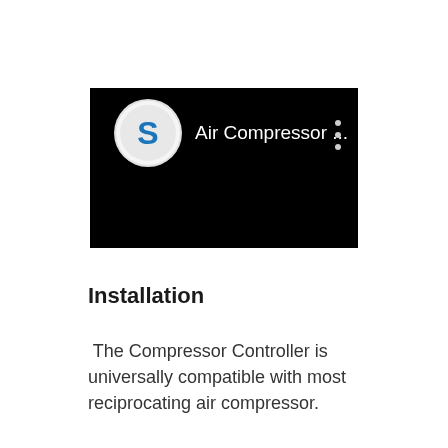[Figure (screenshot): A mobile app interface screenshot on a black background showing a circular logo with the letter S in blue and white, next to the text 'Air Compressor ...' with a vertical three-dot menu icon on the right, all on a black background.]
Installation
The Compressor Controller is universally compatible with most reciprocating air compressor.